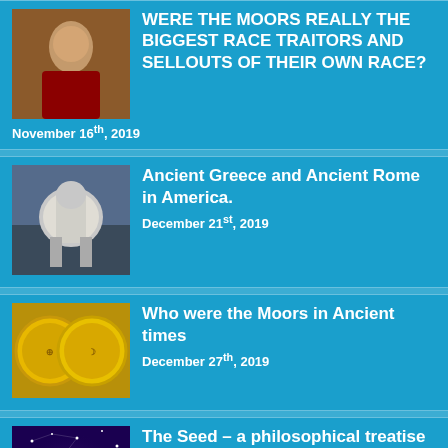WERE THE MOORS REALLY THE BIGGEST RACE TRAITORS AND SELLOUTS OF THEIR OWN RACE?
November 16th, 2019
Ancient Greece and Ancient Rome in America.
December 21st, 2019
Who were the Moors in Ancient times
December 27th, 2019
The Seed – a philosophical treatise on the seed, by Amunhotep Chavis El-Bey
December 4th, 2019
How to become Indigenous – the